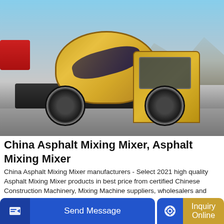[Figure (photo): A yellow concrete/asphalt mixing truck (self-loading mixer) parked on a construction site with mountains in the background and a clear blue sky. The truck has a large rotating drum, prominent black tires with yellow hubs, and an enclosed cab.]
China Asphalt Mixing Mixer, Asphalt Mixing Mixer
China Asphalt Mixing Mixer manufacturers - Select 2021 high quality Asphalt Mixing Mixer products in best price from certified Chinese Construction Machinery, Mixing Machine suppliers, wholesalers and factory on Made-in-China.com
GET A QUOTE
Send Message
Inquiry Online